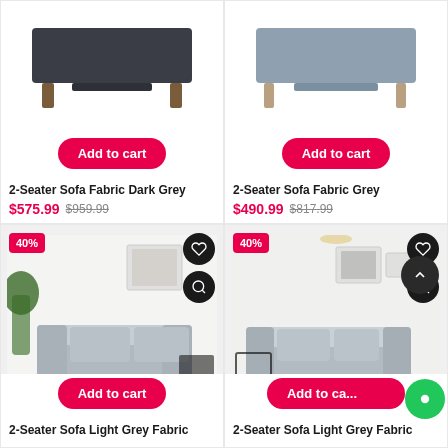[Figure (photo): 2-Seater Sofa Fabric Dark Grey product photo, bottom/legs visible, white background]
Add to cart
2-Seater Sofa Fabric Dark Grey
$575.99  $959.99
[Figure (photo): 2-Seater Sofa Fabric Grey product photo, bottom/legs visible, white background]
Add to cart
2-Seater Sofa Fabric Grey
$490.99  $817.99
[Figure (photo): 2-Seater Sofa Light Grey Fabric in living room setting, 40% discount badge]
Add to cart
2-Seater Sofa Light Grey Fabric
[Figure (photo): 2-Seater Sofa Light Grey Fabric in living room setting, 40% discount badge, chat bubble overlay]
Add to ca...
2-Seater Sofa Light Grey Fabric